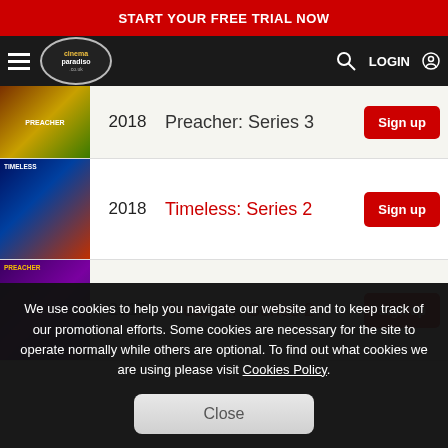START YOUR FREE TRIAL NOW
[Figure (logo): Cinema Paradiso logo with navigation bar including hamburger menu, search icon, and LOGIN button]
2018  Preacher: Series 3
2018  Timeless: Series 2
2017  Preacher: Series 2
We use cookies to help you navigate our website and to keep track of our promotional efforts. Some cookies are necessary for the site to operate normally while others are optional. To find out what cookies we are using please visit Cookies Policy.
Close